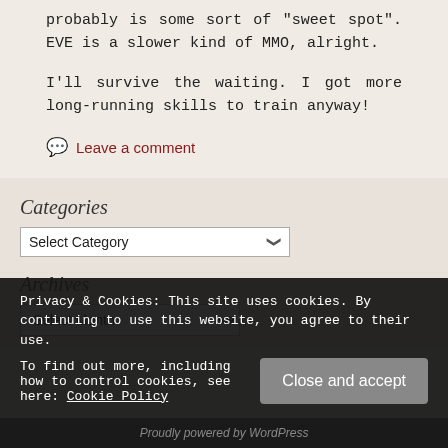probably is some sort of “sweet spot”. EVE is a slower kind of MMO, alright.
I’ll survive the waiting. I got more long-running skills to train anyway!
Leave a comment
Categories
Select Category
Archives
Select Month
Privacy & Cookies: This site uses cookies. By continuing to use this website, you agree to their use. To find out more, including how to control cookies, see here: Cookie Policy
Close and accept
Proudly powered by WordPress